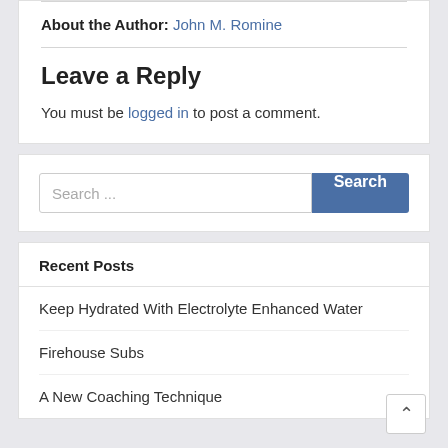About the Author: John M. Romine
Leave a Reply
You must be logged in to post a comment.
Search ...
Recent Posts
Keep Hydrated With Electrolyte Enhanced Water
Firehouse Subs
A New Coaching Technique